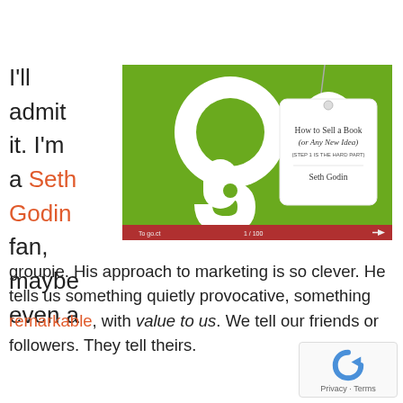I'll admit it. I'm a Seth Godin fan, maybe even a
[Figure (screenshot): Screenshot of a SlideShare presentation titled 'How to Sell a Book (or Any New Idea) (STEP 1 IS THE HARD PART)' by Seth Godin. Green background with large white question mark or hook shape, and a price tag graphic with the title text. Red bottom bar with navigation controls.]
groupie. His approach to marketing is so clever. He tells us something quietly provocative, something remarkable, with value to us. We tell our friends or followers. They tell theirs.
[Figure (logo): reCAPTCHA logo with Privacy and Terms links]